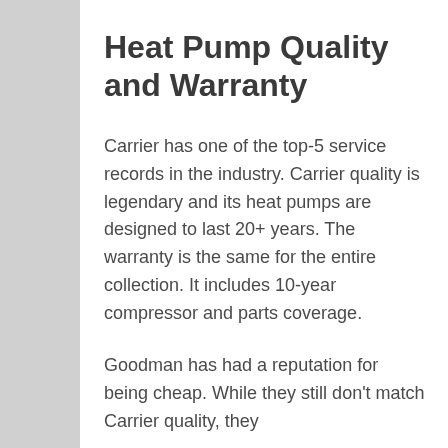Heat Pump Quality and Warranty
Carrier has one of the top-5 service records in the industry. Carrier quality is legendary and its heat pumps are designed to last 20+ years. The warranty is the same for the entire collection. It includes 10-year compressor and parts coverage.
Goodman has had a reputation for being cheap. While they still don't match Carrier quality, they